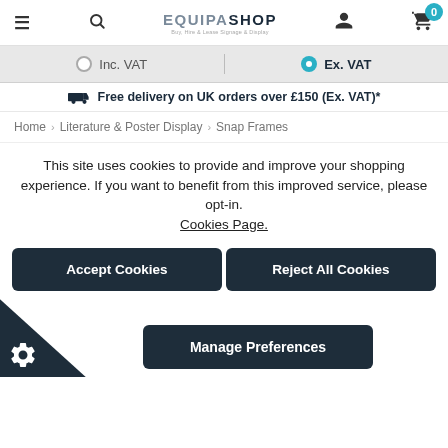EQUIPASHOP
Inc. VAT   Ex. VAT
Free delivery on UK orders over £150 (Ex. VAT)*
Home › Literature & Poster Display › Snap Frames
This site uses cookies to provide and improve your shopping experience. If you want to benefit from this improved service, please opt-in. Cookies Page.
Accept Cookies
Reject All Cookies
Manage Preferences